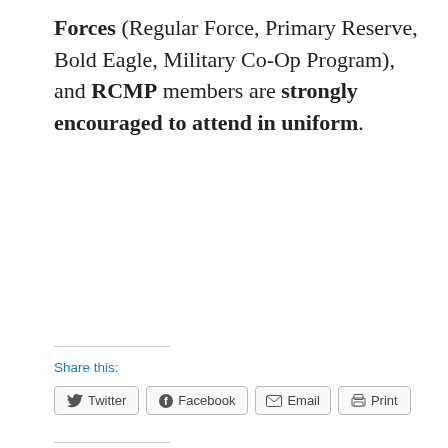Forces (Regular Force, Primary Reserve, Bold Eagle, Military Co-Op Program), and RCMP members are strongly encouraged to attend in uniform.
Share this:
Twitter  Facebook  Email  Print
Like this:
Like
Be the first to like this.
SEARCH ...